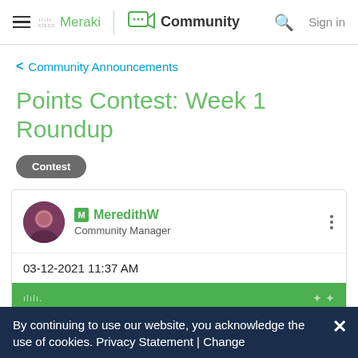≡ cisco Meraki | Community 🔍 Sign in
< Community Announcements
Points Contest: Week 1 Roundup
Contest
MeredithW
Community Manager
03-12-2021 11:37 AM
By continuing to use our website, you acknowledge the use of cookies. Privacy Statement | Change